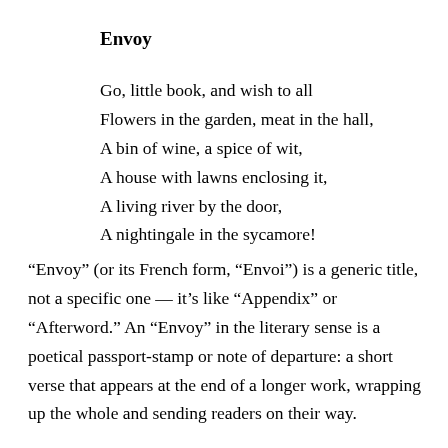Envoy
Go, little book, and wish to all
Flowers in the garden, meat in the hall,
A bin of wine, a spice of wit,
A house with lawns enclosing it,
A living river by the door,
A nightingale in the sycamore!
“Envoy” (or its French form, “Envoi”) is a generic title, not a specific one — it’s like “Appendix” or “Afterword.” An “Envoy” in the literary sense is a poetical passport-stamp or note of departure: a short verse that appears at the end of a longer work, wrapping up the whole and sending readers on their way.